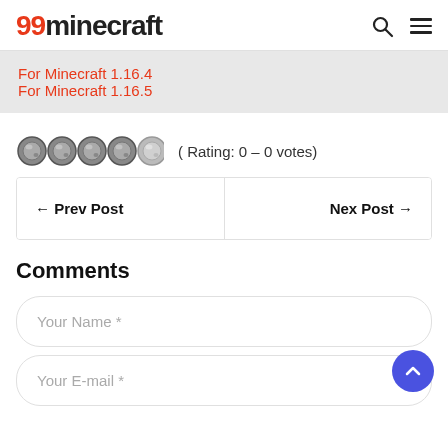99minecraft
For Minecraft 1.16.4
For Minecraft 1.16.5
( Rating: 0 – 0 votes)
← Prev Post
Nex Post →
Comments
Your Name *
Your E-mail *